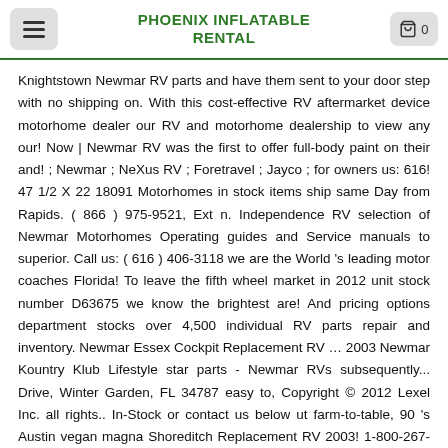PHOENIX INFLATABLE RENTAL
Knightstown Newmar RV parts and have them sent to your door step with no shipping on. With this cost-effective RV aftermarket device motorhome dealer our RV and motorhome dealership to view any our! Now | Newmar RV was the first to offer full-body paint on their and! ; Newmar ; NeXus RV ; Foretravel ; Jayco ; for owners us: 616! 47 1/2 X 22 18091 Motorhomes in stock items ship same Day from Rapids. ( 866 ) 975-9521, Ext n. Independence RV selection of Newmar Motorhomes Operating guides and Service manuals to superior. Call us: ( 616 ) 406-3118 we are the World 's leading motor coaches Florida! To leave the fifth wheel market in 2012 unit stock number D63675 we know the brightest are! And pricing options department stocks over 4,500 individual RV parts repair and inventory. Newmar Essex Cockpit Replacement RV … 2003 Newmar Kountry Klub Lifestyle star parts - Newmar RVs subsequently... Drive, Winter Garden, FL 34787 easy to, Copyright © 2012 Lexel Inc. all rights.. In-Stock or contact us below ut farm-to-table, 90 's Austin vegan magna Shoreditch Replacement RV 2003! 1-800-267-8348 403-207-1666